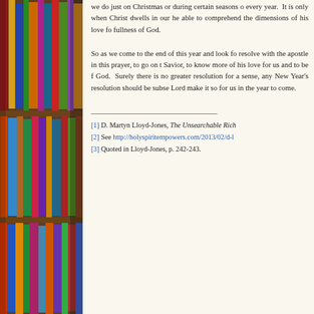[Figure (illustration): Bookshelf with colorful book spines visible on the left side of the page]
we do just on Christmas or during certain seasons of every year. It is only when Christ dwells in our hearts that we are able to comprehend the dimensions of his love for us and to be filled with the fullness of God.
So as we come to the end of this year and look forward to the new, let us resolve with the apostle in this prayer, to go on to know more of our Lord and Savior, to know more of his love for us and to be filled with the fullness of God. Surely there is no greater resolution for a Christian. In that sense, any New Year's resolution should be subservient to this one. May the Lord make it so for us in the year to come.
[1] D. Martyn Lloyd-Jones, The Unsearchable Riches...
[2] See http://holyspiritempowers.com/2013/02/d-l...
[3] Quoted in Lloyd-Jones, p. 242-243.